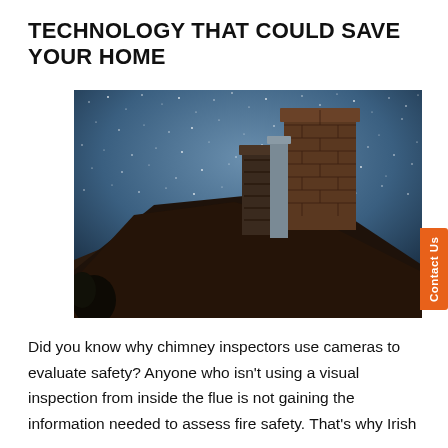TECHNOLOGY THAT COULD SAVE YOUR HOME
[Figure (photo): Night photo of a rooftop with two chimneys silhouetted against a dark blue starry sky]
Did you know why chimney inspectors use cameras to evaluate safety? Anyone who isn't using a visual inspection from inside the flue is not gaining the information needed to assess fire safety. That's why Irish